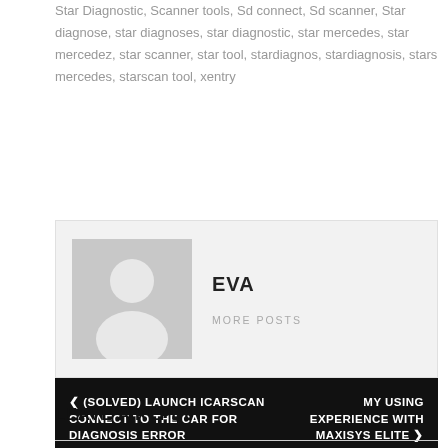Star Diagnostic, Scanner tools, Sd connect, Sd scanner, Star diagnose, star diagnoses, star diagnostic, star mercedes, star mercedez, star scanner, star tool, stardiagnos, stardiagnosis, stars mercedes, starscan tool, xentry
[Figure (illustration): Author avatar placeholder - grey square with white silhouette of a person]
EVA
MORE POSTS
< (SOLVED) LAUNCH ICARSCAN CONNECT TO THE CAR FOR DIAGNOSIS ERROR
MY USING EXPERIENCE WITH MAXISYS ELITE >
LEAVE A REPLY